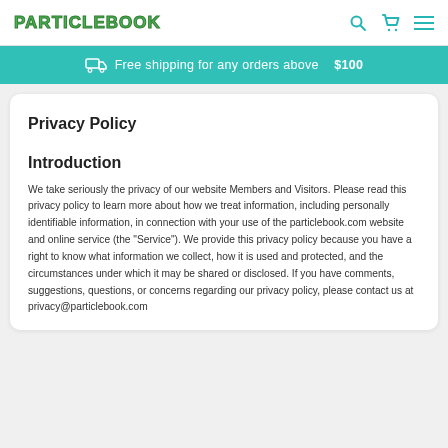PARTICLEBOOK
Free shipping for any orders above $100
Privacy Policy
Introduction
We take seriously the privacy of our website Members and Visitors. Please read this privacy policy to learn more about how we treat information, including personally identifiable information, in connection with your use of the particlebook.com website and online service (the "Service"). We provide this privacy policy because you have a right to know what information we collect, how it is used and protected, and the circumstances under which it may be shared or disclosed. If you have comments, suggestions, questions, or concerns regarding our privacy policy, please contact us at privacy@particlebook.com